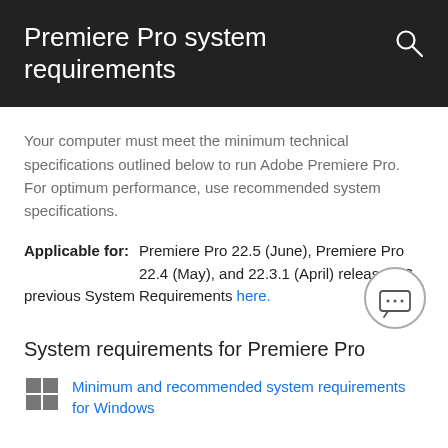Premiere Pro system requirements
Your computer must meet the minimum technical specifications outlined below to run Adobe Premiere Pro. For optimum performance, use recommended system specifications.
Applicable for: Premiere Pro 22.5 (June), Premiere Pro 22.4 (May), and 22.3.1 (April) releases. See previous System Requirements here.
System requirements for Premiere Pro
Minimum and recommended system requirements for Windows